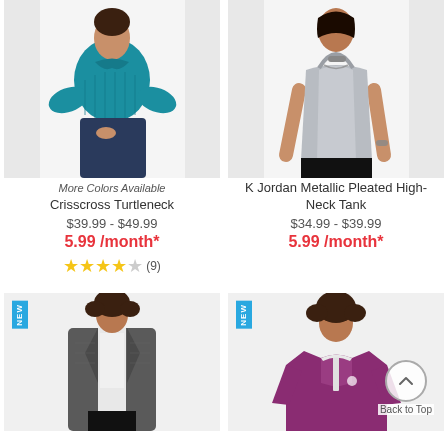[Figure (photo): Woman wearing a teal crisscross turtleneck sweater]
More Colors Available
Crisscross Turtleneck
$39.99 - $49.99
5.99 /month*
★★★★☆ (9)
[Figure (photo): Woman wearing a silver metallic pleated high-neck tank top]
K Jordan Metallic Pleated High-Neck Tank
$34.99 - $39.99
5.99 /month*
[Figure (photo): Woman wearing a long grey open-front cardigan coat]
[Figure (photo): Woman wearing a purple/magenta quarter-zip pullover sweatshirt]
Back to Top